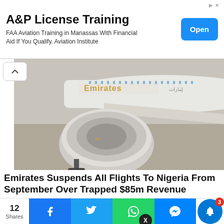[Figure (other): Advertisement banner for A&P License Training. Text: 'A&P License Training', 'FAA Aviation Training in Manassas With Financial Aid If You Qualify. Aviation Institute'. Blue 'Open' button on right.]
[Figure (photo): Close-up photograph of an Emirates airline aircraft on the ground, showing the engine nacelle, wing, and landing gear. Emirates logo visible on fuselage.]
Emirates Suspends All Flights To Nigeria From September Over Trapped $85m Revenue
by Tobias Sylvester
about 22 hours ago
[Figure (screenshot): Popup notification card showing: 'JUST IN: Air France Releases Singer, Ayra' with thumbnail images of two women and timestamp '15 minutes ago']
12 Shares | Facebook | Twitter | WhatsApp | Messenger | Bell notification (3)